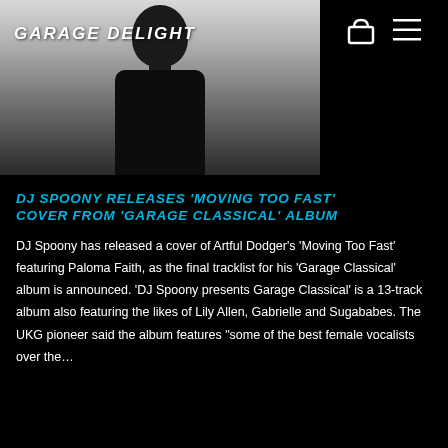[Figure (photo): Black and white photo of DJ Spoony, a man in a dark jacket, with the Garage Delight logo in the top left corner]
DJ SPOONY RELEASES 'MOVING TOO FAST' COVER FROM 'GARAGE CLASSICAL' ALBUM
DJ Spoony has released a cover of Artful Dodger's 'Moving Too Fast' featuring Paloma Faith, as the final tracklist for his 'Garage Classical' album is announced. 'DJ Spoony presents Garage Classical' is a 13-track album also featuring the likes of Lily Allen, Gabrielle and Sugababes. The UKG pioneer said the album features "some of the best female vocalists over the…